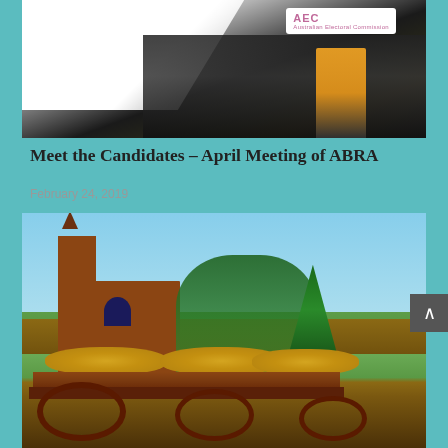[Figure (photo): Photo of an AEC (Australian Electoral Commission) tent/marquee with people underneath, including a person in hi-vis clothing, taken at what appears to be an outdoor voting or information event.]
Meet the Candidates – April Meeting of ABRA
February 24, 2019
[Figure (photo): Photo of a historic sandstone/brick church building with gothic arched windows, surrounded by trees, with a wooden horse-drawn wagon loaded with hay bales in the foreground on a sunny day.]